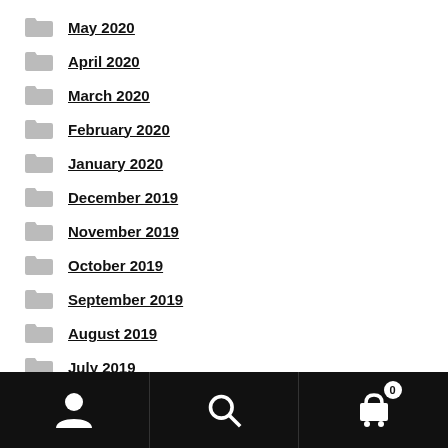May 2020
April 2020
March 2020
February 2020
January 2020
December 2019
November 2019
October 2019
September 2019
August 2019
July 2019
Navigation bar with user, search, and cart (0) icons